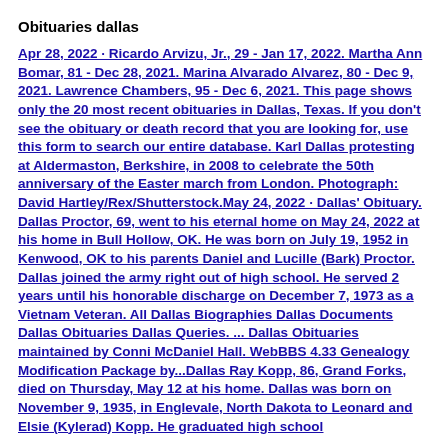Obituaries dallas
Apr 28, 2022 · Ricardo Arvizu, Jr., 29 - Jan 17, 2022. Martha Ann Bomar, 81 - Dec 28, 2021. Marina Alvarado Alvarez, 80 - Dec 9, 2021. Lawrence Chambers, 95 - Dec 6, 2021. This page shows only the 20 most recent obituaries in Dallas, Texas. If you don't see the obituary or death record that you are looking for, use this form to search our entire database. Karl Dallas protesting at Aldermaston, Berkshire, in 2008 to celebrate the 50th anniversary of the Easter march from London. Photograph: David Hartley/Rex/Shutterstock.May 24, 2022 · Dallas' Obituary. Dallas Proctor, 69, went to his eternal home on May 24, 2022 at his home in Bull Hollow, OK. He was born on July 19, 1952 in Kenwood, OK to his parents Daniel and Lucille (Bark) Proctor. Dallas joined the army right out of high school. He served 2 years until his honorable discharge on December 7, 1973 as a Vietnam Veteran. All Dallas Biographies Dallas Documents Dallas Obituaries Dallas Queries. ... Dallas Obituaries maintained by Conni McDaniel Hall. WebBBS 4.33 Genealogy Modification Package by...Dallas Ray Kopp, 86, Grand Forks, died on Thursday, May 12 at his home. Dallas was born on November 9, 1935, in Englevale, North Dakota to Leonard and Elsie (Kylerad) Kopp. He graduated high school